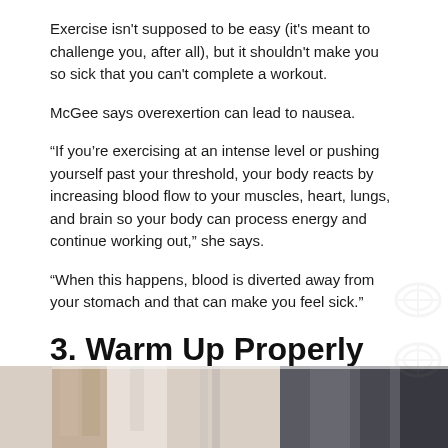Exercise isn't supposed to be easy (it's meant to challenge you, after all), but it shouldn't make you so sick that you can't complete a workout.
McGee says overexertion can lead to nausea.
“If you’re exercising at an intense level or pushing yourself past your threshold, your body reacts by increasing blood flow to your muscles, heart, lungs, and brain so your body can process energy and continue working out,” she says.
“When this happens, blood is diverted away from your stomach and that can make you feel sick.”
3. Warm Up Properly and Avoid Exercising in Extreme Conditions
[Figure (photo): Bottom strip showing people's legs and workout equipment in a gym setting]